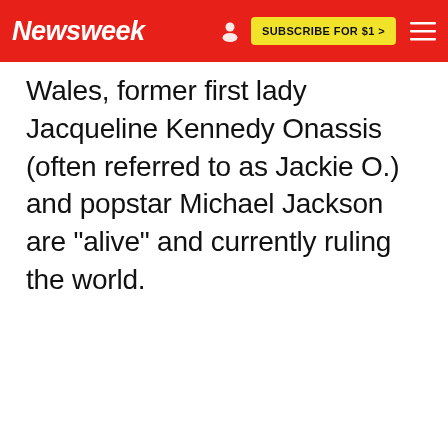Newsweek | SUBSCRIBE FOR $1 >
Wales, former first lady Jacqueline Kennedy Onassis (often referred to as Jackie O.) and popstar Michael Jackson are "alive" and currently ruling the world.